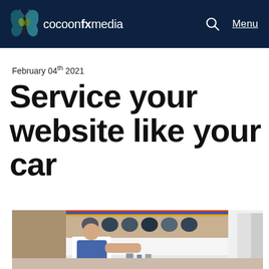cocoonfxmedia
February 04th 2021
Service your website like your car
[Figure (photo): A mechanic or technician working, leaning forward over a surface in a workshop or garage setting, with helmets or equipment visible on a shelf in the background.]